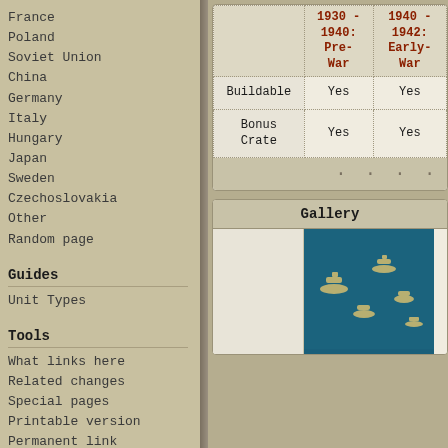France
Poland
Soviet Union
China
Germany
Italy
Hungary
Japan
Sweden
Czechoslovakia
Other
Random page
Guides
Unit Types
Tools
What links here
Related changes
Special pages
Printable version
Permanent link
|  | 1930 - 1940: Pre-War | 1940 - 1942: Early-War |
| --- | --- | --- |
| Buildable | Yes | Yes |
| Bonus Crate | Yes | Yes |
Gallery
[Figure (photo): Naval ships on ocean water, aerial view showing multiple warships]